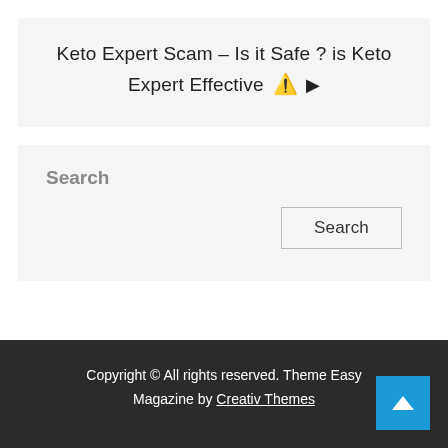Keto Expert Scam – Is it Safe ? is Keto Expert Effective ⚠️ ▶
Search
Search (button)
Copyright © All rights reserved. Theme Easy Magazine by Creativ Themes